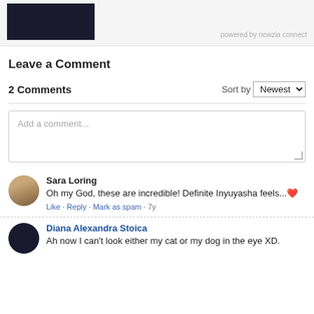[Figure (photo): Dark/black thumbnail image in a light gray header bar with 'powered by newzia connect' text on the right]
powered by newzia connect
Leave a Comment
2 Comments
Sort by Newest
Add a comment...
Sara Loring
Oh my God, these are incredible! Definite Inyuyasha feels... ❤️
Like · Reply · Mark as spam · 7y
Diana Alexandra Stoica
Ah now I can't look either my cat or my dog in the eye XD.